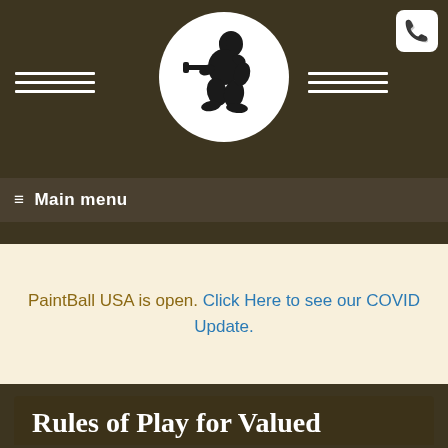[Figure (logo): PaintBall USA logo: white circle with black silhouette of a paintball player crouching and aiming a gun, with decorative horizontal lines on left and right sides, on dark olive/brown background]
[Figure (other): White phone icon button in top-right corner]
☰ Main menu
PaintBall USA is open. Click Here to see our COVID Update.
Rules of Play for Valued